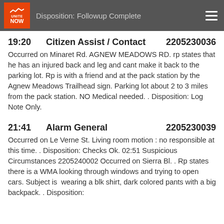Disposition: Followup Complete
19:20    Citizen Assist / Contact    2205230036
Occurred on Minaret Rd. AGNEW MEADOWS RD. rp states that he has an injured back and leg and cant make it back to the parking lot. Rp is with a friend and at the pack station by the Agnew Meadows Trailhead sign. Parking lot about 2 to 3 miles from the pack station. NO Medical needed. . Disposition: Log Note Only.
21:41    Alarm General    2205230039
Occurred on Le Verne St. Living room motion : no responsible at this time. . Disposition: Checks Ok. 02:51 Suspicious Circumstances 2205240002 Occurred on Sierra Bl. . Rp states there is a WMA looking through windows and trying to open cars. Subject is  wearing a blk shirt, dark colored pants with a big backpack. . Disposition: